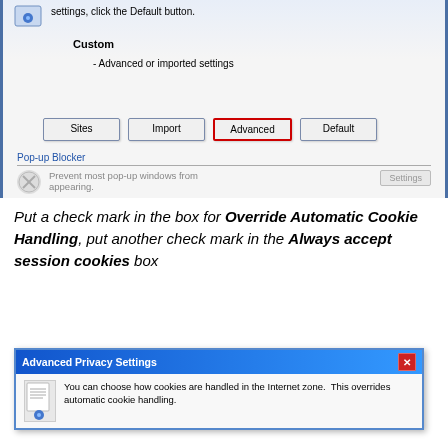[Figure (screenshot): Internet Explorer Privacy settings dialog showing Sites, Import, Advanced (highlighted with red border), and Default buttons, plus Pop-up Blocker section with Settings button]
Put a check mark in the box for Override Automatic Cookie Handling, put another check mark in the Always accept session cookies box
[Figure (screenshot): Advanced Privacy Settings dialog box with title bar showing 'Advanced Privacy Settings' and body text 'You can choose how cookies are handled in the Internet zone. This overrides automatic cookie handling.']